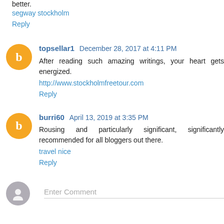better.
segway stockholm
Reply
topsellar1  December 28, 2017 at 4:11 PM
After reading such amazing writings, your heart gets energized.
http://www.stockholmfreetour.com
Reply
burri60  April 13, 2019 at 3:35 PM
Rousing and particularly significant, significantly recommended for all bloggers out there.
travel nice
Reply
Enter Comment